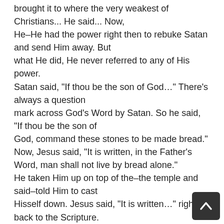brought it to where the very weakest of Christians... He said... Now, He–He had the power right then to rebuke Satan and send Him away. But what He did, He never referred to any of His power. Satan said, "If thou be the son of God…" There's always a question mark across God's Word by Satan. So he said, "If thou be the son of God, command these stones to be made bread." Now, Jesus said, "It is written, in the Father's Word, man shall not live by bread alone." He taken Him up on top of the–the temple and said–told Him to cast Hisself down. Jesus said, "It is written…" right back to the Scripture. Then He taken Him up on a mountain, showed all the kingdoms of the world, and said, "I'll give to you if you'll bow down and worship me."